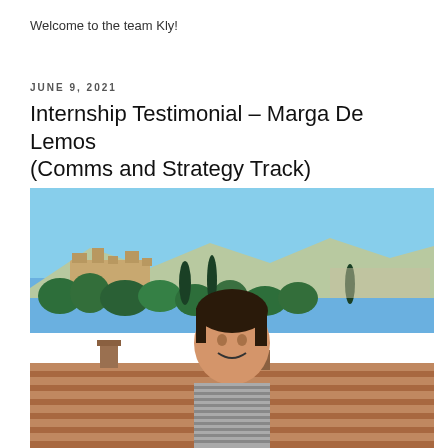Welcome to the team Kly!
JUNE 9, 2021
Internship Testimonial – Marga De Lemos (Comms and Strategy Track)
[Figure (photo): Young woman smiling outdoors with the Alhambra palace and cityscape of Granada visible in the background under a clear blue sky. Terracotta rooftops and cypress trees in foreground.]